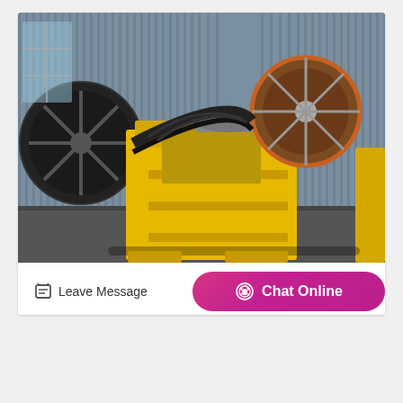[Figure (photo): Photograph of a large yellow jaw crusher machine with black flywheels and belt pulleys, set against a corrugated metal building background.]
California Bearing Ratio Pavement Interactive
Leave Message
Chat Online